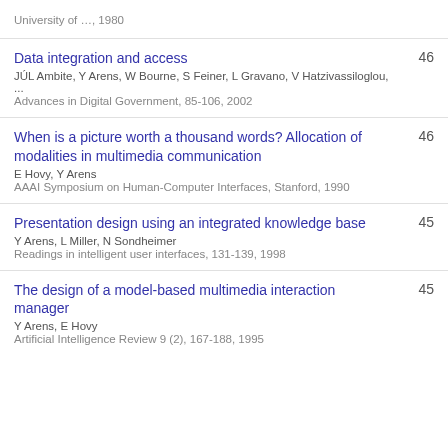University of …, 1980
Data integration and access | JÚL Ambite, Y Arens, W Bourne, S Feiner, L Gravano, V Hatzivassiloglou, ... | Advances in Digital Government, 85-106, 2002 | 46
When is a picture worth a thousand words? Allocation of modalities in multimedia communication | E Hovy, Y Arens | AAAI Symposium on Human-Computer Interfaces, Stanford, 1990 | 46
Presentation design using an integrated knowledge base | Y Arens, L Miller, N Sondheimer | Readings in intelligent user interfaces, 131-139, 1998 | 45
The design of a model-based multimedia interaction manager | Y Arens, E Hovy | Artificial Intelligence Review 9 (2), 167-188, 1995 | 45